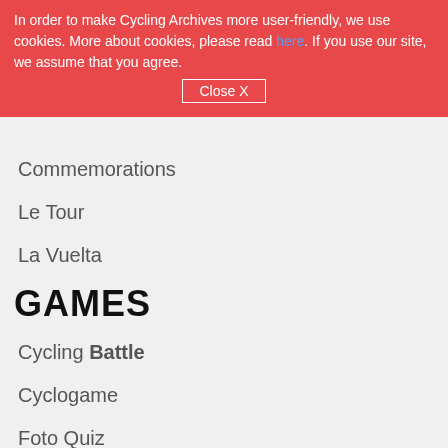In order to make Cycling Archives more user-friendly, we use cookies. More about cookies, please read here. If you use our site, we assume that you agree. Close X
SPECIALS
Commemorations
Le Tour
La Vuelta
GAMES
Cycling Battle
Cyclogame
Foto Quiz
CONTACT
About us
Contact
Advertise